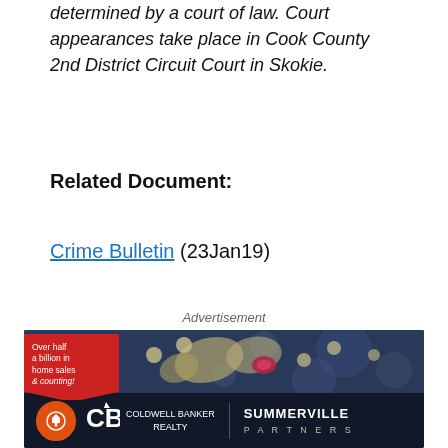determined by a court of law. Court appearances take place in Cook County 2nd District Circuit Court in Skokie.
Related Document:
Crime Bulletin (23Jan19)
Advertisement
[Figure (photo): Coldwell Banker Realty and Summerville Partners advertisement showing a violin/decorative musical instrument in background with text 'Over half a billion in home sales & counting!' on a red banner, and logos at the bottom on a dark background.]